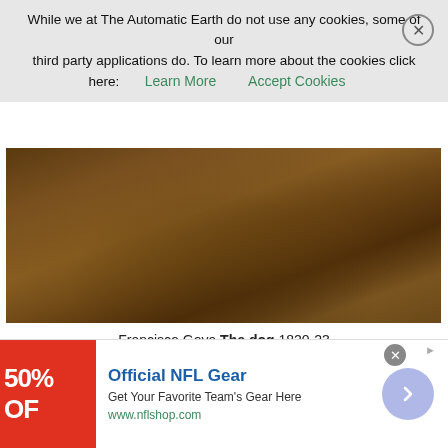While we at The Automatic Earth do not use any cookies, some of our third party applications do. To learn more about the cookies click here: Learn More  Accept Cookies
[Figure (photo): Francisco Goya painting 'The dog' 1820-23 — a dark brownish textured surface with muted tones]
Francisco Goya The dog 1820-23
What follows are items from sources not everyone may like, such as Fox and The Hill. But please bear with me, because if you want to understand what is about to happen in the US, you're going to need this kind of info, and you're not likely to get it from the mainstream media.
[Figure (infographic): Advertisement banner: Official NFL Gear — Get Your Favorite Team's Gear Here — www.nflshop.com — with red box showing 50% OFF text and arrow button]